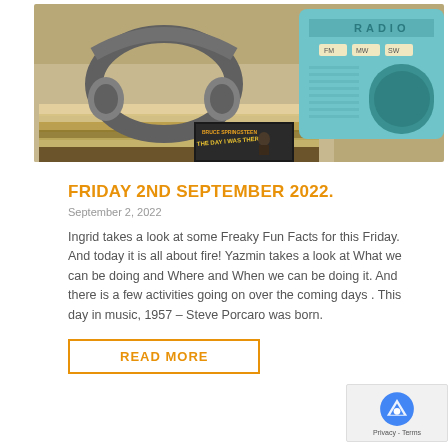[Figure (photo): Photo of headphones resting on stacked vinyl records with a teal vintage radio in the background and a Bruce Springsteen 'The Day I Was There' album visible]
FRIDAY 2ND SEPTEMBER 2022.
September 2, 2022
Ingrid takes a look at some Freaky Fun Facts for this Friday. And today it is all about fire! Yazmin takes a look at What we can be doing and Where and When we can be doing it. And there is a few activities going on over the coming days . This day in music, 1957 – Steve Porcaro was born.
READ MORE